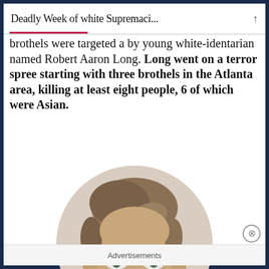Deadly Week of white Supremaci...
brothels were targeted a by young white-identarian named Robert Aaron Long. Long went on a terror spree starting with three brothels in the Atlanta area, killing at least eight people, 6 of which were Asian.
[Figure (photo): Mugshot-style circular cropped photograph of Robert Aaron Long, a young white male with short brown hair, facing forward.]
Advertisements